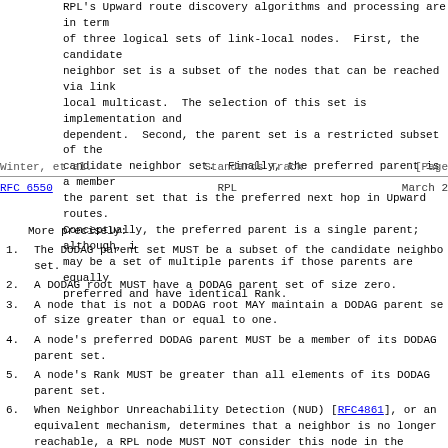RPL's Upward route discovery algorithms and processing are in terms of three logical sets of link-local nodes. First, the candidate neighbor set is a subset of the nodes that can be reached via link-local multicast. The selection of this set is implementation and dependent. Second, the parent set is a restricted subset of the candidate neighbor set. Finally, the preferred parent is a member of the parent set that is the preferred next hop in Upward routes. Conceptually, the preferred parent is a single parent; although, it may be a set of multiple parents if those parents are equally preferred and have identical Rank.
Winter, et al.                  Standards Track                    [Page
RFC 6550                          RPL                           March 2
More precisely:
1.  The DODAG parent set MUST be a subset of the candidate neighbor set.
2.  A DODAG root MUST have a DODAG parent set of size zero.
3.  A node that is not a DODAG root MAY maintain a DODAG parent set of size greater than or equal to one.
4.  A node's preferred DODAG parent MUST be a member of its DODAG parent set.
5.  A node's Rank MUST be greater than all elements of its DODAG parent set.
6.  When Neighbor Unreachability Detection (NUD) [RFC4861], or an equivalent mechanism, determines that a neighbor is no longer reachable, a RPL node MUST NOT consider this node in the